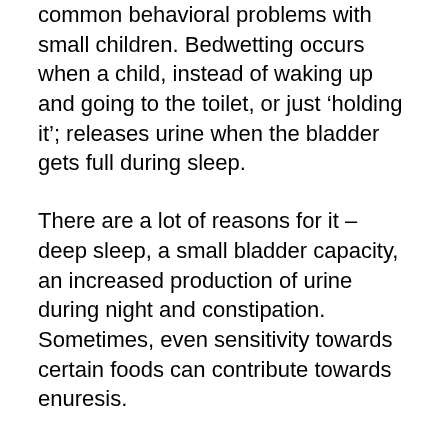common behavioral problems with small children. Bedwetting occurs when a child, instead of waking up and going to the toilet, or just ‘holding it’; releases urine when the bladder gets full during sleep.
There are a lot of reasons for it – deep sleep, a small bladder capacity, an increased production of urine during night and constipation. Sometimes, even sensitivity towards certain foods can contribute towards enuresis.
Studies indicate that children who suffer from enuresis fail to register the connection between the urge to urinate and the need to wake up and go the bathroom. It is as if their brains are different that is, It and this brain is